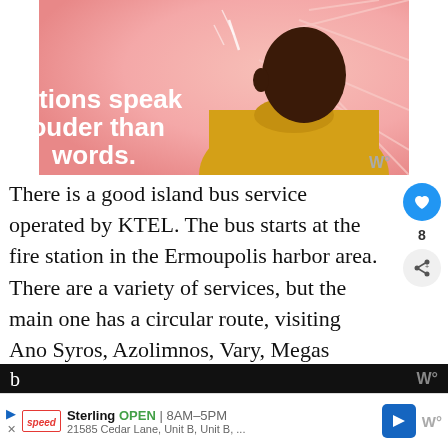[Figure (illustration): Illustration of a person in a yellow turtleneck sweater against a pink background with the text 'Actions speak louder than words.' overlaid in white bold text.]
There is a good island bus service operated by KTEL. The bus starts at the fire station in the Ermoupolis harbor area. There are a variety of services, but the main one has a circular route, visiting Ano Syros, Azolimnos, Vary, Megas Gialos, Posidonia, Kini, a. Foikikas.
There is some information available online, but the
[Figure (infographic): WHAT'S NEXT arrow label with thumbnail image and text: Ermoupolis, the stylish...]
Sterling OPEN | 8AM–5PM  21585 Cedar Lane, Unit B, Unit B, ...